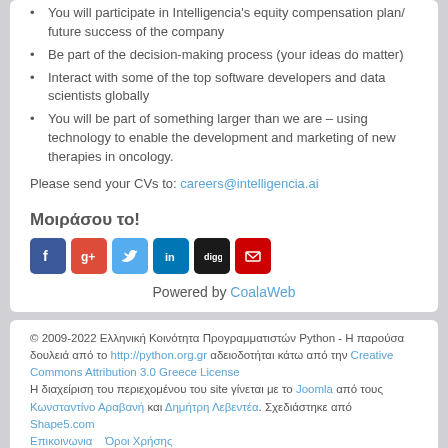You will participate in Intelligencia's equity compensation plan/ future success of the company
Be part of the decision-making process (your ideas do matter)
Interact with some of the top software developers and data scientists globally
You will be part of something larger than we are – using technology to enable the development and marketing of new therapies in oncology.
Please send your CVs to: careers@intelligencia.ai
Μοιράσου το!
[Figure (infographic): Social sharing icons: Facebook, Google+, Twitter, LinkedIn, Digg, Email]
Powered by CoalaWeb
© 2009-2022 Ελληνική Κοινότητα Προγραμματιστών Python - Η παρούσα δουλειά από το http://python.org.gr αδειοδοτήται κάτω από την Creative Commons Attribution 3.0 Greece License Η διαχείριση του περιεχομένου του site γίνεται με το Joomla από τους Κωνσταντίνο Αραβανή και Δημήτρη Λεβεντέα. Σχεδιάστηκε από Shape5.com Επικοινωνια   Όροι Χρήσης